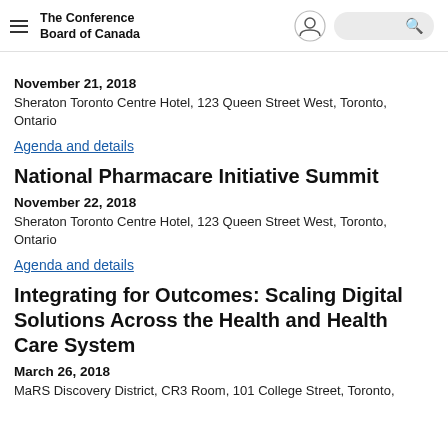The Conference Board of Canada
November 21, 2018
Sheraton Toronto Centre Hotel, 123 Queen Street West, Toronto, Ontario
Agenda and details
National Pharmacare Initiative Summit
November 22, 2018
Sheraton Toronto Centre Hotel, 123 Queen Street West, Toronto, Ontario
Agenda and details
Integrating for Outcomes: Scaling Digital Solutions Across the Health and Health Care System
March 26, 2018
MaRS Discovery District, CR3 Room, 101 College Street, Toronto,